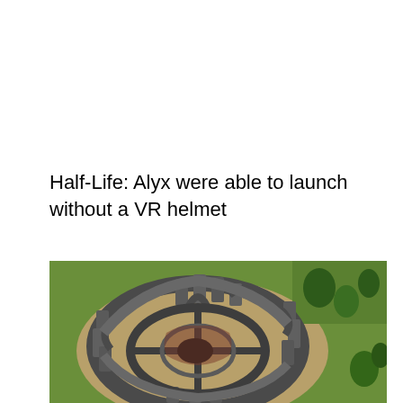Half-Life: Alyx were able to launch without a VR helmet
[Figure (photo): Aerial view of ancient circular stone ruins resembling a colosseum or amphitheater structure, surrounded by green grass and trees. The ruins are grey stone with archways and columns arranged in a circular pattern, with an open interior featuring curved stone pathways.]